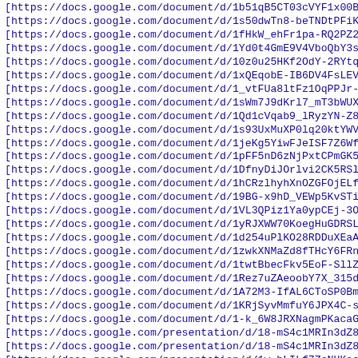[https://docs.google.com/document/d/1b51qB5CT03cVYF1x00BWL5
[https://docs.google.com/document/d/1s50dwTn8-beTNDtPFiKEV5
[https://docs.google.com/document/d/1fHkW_ehFr1pa-RQ2PZ2Sk4
[https://docs.google.com/document/d/1Yd0t4GmE9V4VboQbY3sb9Q
[https://docs.google.com/document/d/10z0u25HKf2OdY-2RYtqqOh
[https://docs.google.com/document/d/1xQEqobE-IB6DV4FsLEVxi1
[https://docs.google.com/document/d/1_vtFUa8ltFz1OqPPJr-jdO
[https://docs.google.com/document/d/1sWm7J9dKrl7_mT3bWUXigN
[https://docs.google.com/document/d/1Qd1cVqab9_lRyzYN-Z8oPh
[https://docs.google.com/document/d/1s93UxMuXP0lq20ktYWVN7Q
[https://docs.google.com/document/d/1jeKg5YiwFJeISF7Z6WfX21
[https://docs.google.com/document/d/1pFF5nD6zNjPxtCPmGK5OQB
[https://docs.google.com/document/d/1DfnyDiJOrlvi2CK5RSluXN
[https://docs.google.com/document/d/1hCRzlhyhXnOZGFOjELfIKa
[https://docs.google.com/document/d/19BG-x9hD_VEWp5KvSTiEUZ
[https://docs.google.com/document/d/1VL3QPiz1Ya0ypCEj-3OavK
[https://docs.google.com/document/d/1yRJXWW70KoegHuGDRSLVoE
[https://docs.google.com/document/d/1d254uPlKO28RDDuXEaAVI6
[https://docs.google.com/document/d/1zwkXNMaZd8fTHcY6FRnA5D
[https://docs.google.com/document/d/1twtBbecFkv5EoF-SllZmjU
[https://docs.google.com/document/d/1Rez7uZAeoobY7X_315ditQ
[https://docs.google.com/document/d/1A72M3-IfAL6CToSP0Bmkmt
[https://docs.google.com/document/d/1KRjSyvMmfuY6JPX4C-sO26
[https://docs.google.com/document/d/1-k_6W8JRXNagmPKacaG0rC
[https://docs.google.com/presentation/d/18-mS4c1MRIn3dZ8PSE
[https://docs.google.com/presentation/d/18-mS4c1MRIn3dZ8PSE
[https://docs.google.com/presentation/d/1w_bLILf7ZeNHKecwF0
[https://docs.google.com/presentation/d/1n9Sh48iYeonCLMR3qk
[https://docs.google.com/presentation/d/1uftRwQ9GmeaHXsJE9U
[https://docs.google.com/presentation/d/1iQzHr_3hbOKSWsf7vM